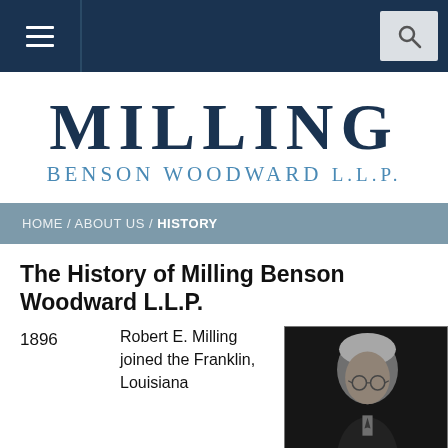Milling Benson Woodward L.L.P. — Navigation bar with hamburger menu and search
MILLING BENSON WOODWARD L.L.P.
HOME / ABOUT US / HISTORY
The History of Milling Benson Woodward L.L.P.
1896
Robert E. Milling joined the Franklin, Louisiana
[Figure (photo): Black and white portrait photograph of an elderly man with white hair and round glasses, wearing a suit]